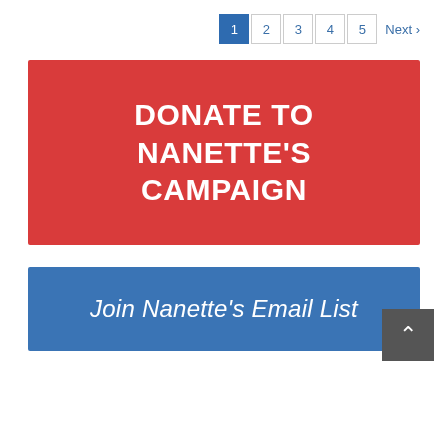1 2 3 4 5 Next >
[Figure (other): Red donation button banner reading DONATE TO NANETTE'S CAMPAIGN]
[Figure (other): Blue email list button banner reading Join Nanette's Email List with a scroll-to-top button]